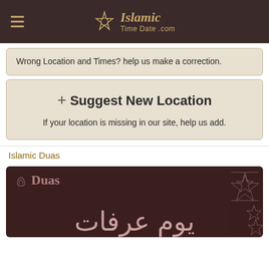Islamic TimeDate.com
Wrong Location and Times? help us make a correction.
+ Suggest New Location
If your location is missing in our site, help us add.
Islamic Duas
[Figure (illustration): Dark maroon card with 'Duas' label and geometric Islamic patterns on the right, with Arabic calligraphy text at the bottom reading 'Yawm Arafat']